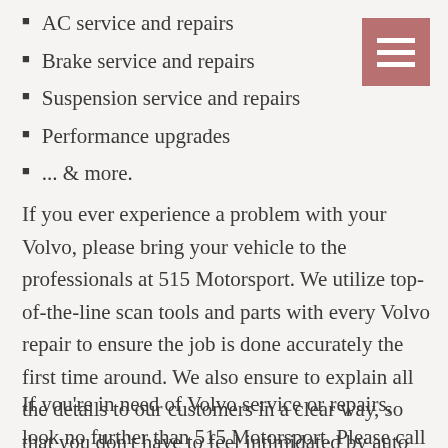AC service and repairs
Brake service and repairs
Suspension service and repairs
Performance upgrades
... & more.
[Figure (other): Hamburger menu icon — three white horizontal bars on a mauve/rose square background]
If you ever experience a problem with your Volvo, please bring your vehicle to the professionals at 515 Motorsport. We utilize top-of-the-line scan tools and parts with every Volvo repair to ensure the job is done accurately the first time around. We also ensure to explain all the details to our customers in a clear way, so that you don't have to feel intimidated by auto repairs. Unlike other shops and dealerships, we genuinely care about the driving community in Liberty, MO.
If you're in need of Volvo service or repairs, look no further than 515 Motorsport. Please call or visit our shop soon!